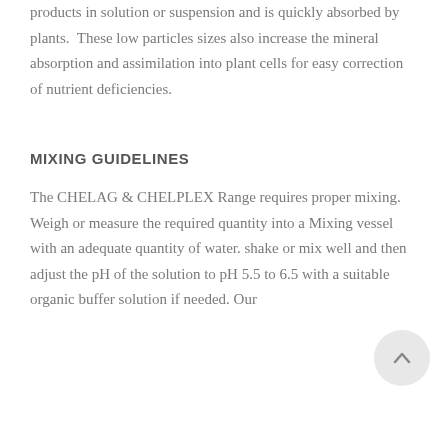products in solution or suspension and is quickly absorbed by plants.  These low particles sizes also increase the mineral absorption and assimilation into plant cells for easy correction of nutrient deficiencies.
MIXING GUIDELINES
The CHELAG & CHELPLEX Range requires proper mixing. Weigh or measure the required quantity into a Mixing vessel with an adequate quantity of water. shake or mix well and then adjust the pH of the solution to pH 5.5 to 6.5 with a suitable organic buffer solution if needed. Our